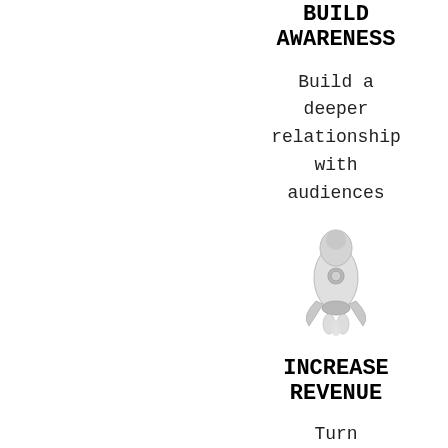BUILD AWARENESS
Build a deeper relationship with audiences
[Figure (illustration): White/grey 3D rocket ship illustration pointing upward]
INCREASE REVENUE
Turn viewers into customers